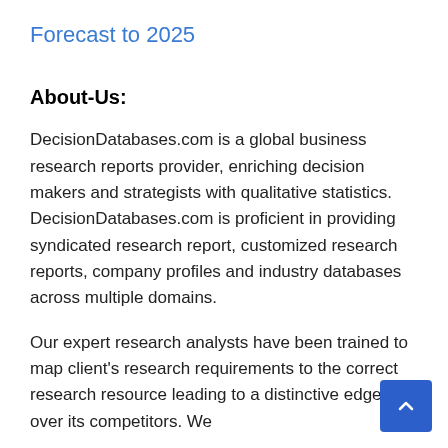Forecast to 2025
About-Us:
DecisionDatabases.com is a global business research reports provider, enriching decision makers and strategists with qualitative statistics. DecisionDatabases.com is proficient in providing syndicated research report, customized research reports, company profiles and industry databases across multiple domains.
Our expert research analysts have been trained to map client's research requirements to the correct research resource leading to a distinctive edge over its competitors. We